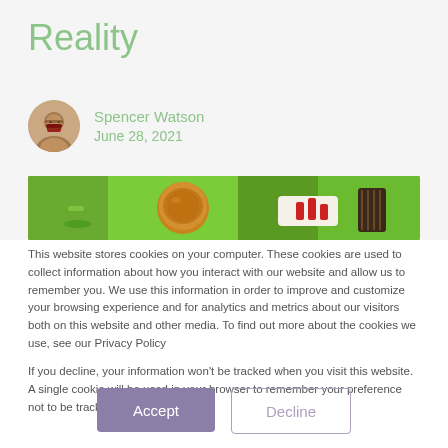Reality
Spencer Watson
June 28, 2021
[Figure (photo): Top-down view of a school lunch tray with green compartments containing a bread roll, red tomatoes, and other food items]
This website stores cookies on your computer. These cookies are used to collect information about how you interact with our website and allow us to remember you. We use this information in order to improve and customize your browsing experience and for analytics and metrics about our visitors both on this website and other media. To find out more about the cookies we use, see our Privacy Policy
If you decline, your information won't be tracked when you visit this website. A single cookie will be used in your browser to remember your preference not to be tracked.
Accept
Decline